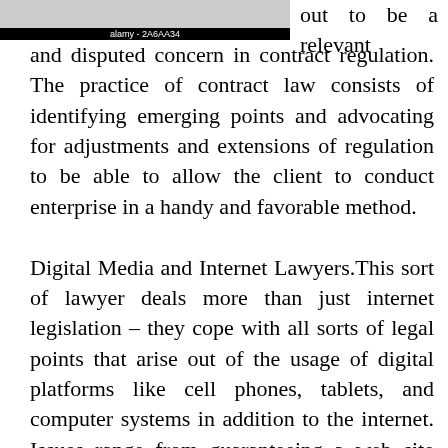[Figure (photo): Partial image at top left with caption label 'alamy - 2A6AA34' in a black bar]
out to be a relevant and disputed concern in contract regulation. The practice of contract law consists of identifying emerging points and advocating for adjustments and extensions of regulation to be able to allow the client to conduct enterprise in a handy and favorable method.
Digital Media and Internet Lawyers.This sort of lawyer deals more than just internet legislation – they cope with all sorts of legal points that arise out of the usage of digital platforms like cell phones, tablets, and computer systems in addition to the internet. Issues range from guaranteeing a web site complies with the regulation to dealing with privacy complaints to advising firms about how they will and can't use